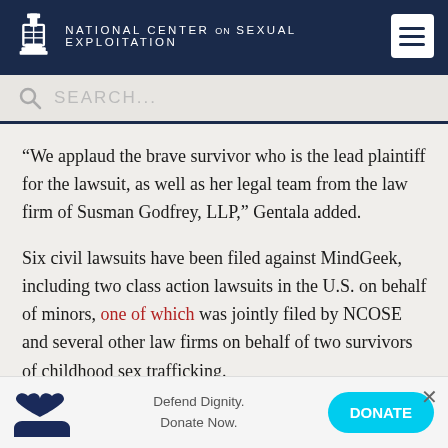NATIONAL CENTER ON SEXUAL EXPLOITATION
“We applaud the brave survivor who is the lead plaintiff for the lawsuit, as well as her legal team from the law firm of Susman Godfrey, LLP,” Gentala added.
Six civil lawsuits have been filed against MindGeek, including two class action lawsuits in the U.S. on behalf of minors, one of which was jointly filed by NCOSE and several other law firms on behalf of two survivors of childhood sex trafficking.
NCOSE and other survivors and advocates held a virtual
[Figure (infographic): Defend Dignity Donate Now banner with heart-in-hand icon and DONATE button]